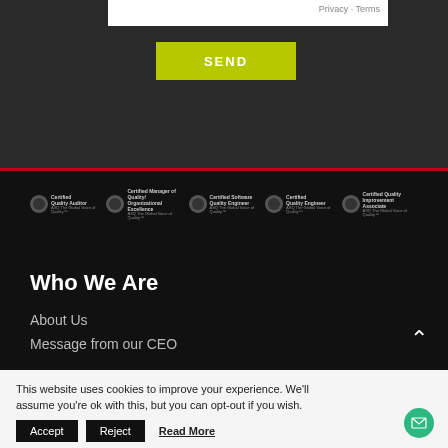Privacy · Terms
SEND
[Figure (logo): Five ASQ certification logos: Certified Quality Auditor, Certified Manager of Quality/Organizational Excellence, Certified Software Quality Engineer, Certified Quality Engineer, Certified Quality Improvement Associate]
Who We Are
About Us
Message from our CEO
This website uses cookies to improve your experience. We'll assume you're ok with this, but you can opt-out if you wish.
Accept
Reject
Read More